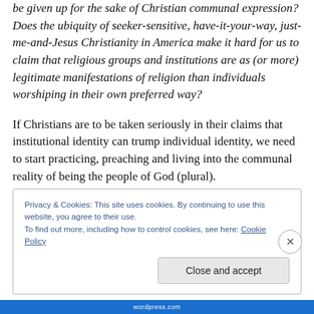be given up for the sake of Christian communal expression? Does the ubiquity of seeker-sensitive, have-it-your-way, just-me-and-Jesus Christianity in America make it hard for us to claim that religious groups and institutions are as (or more) legitimate manifestations of religion than individuals worshiping in their own preferred way?
If Christians are to be taken seriously in their claims that institutional identity can trump individual identity, we need to start practicing, preaching and living into the communal reality of being the people of God (plural).
Privacy & Cookies: This site uses cookies. By continuing to use this website, you agree to their use.
To find out more, including how to control cookies, see here: Cookie Policy